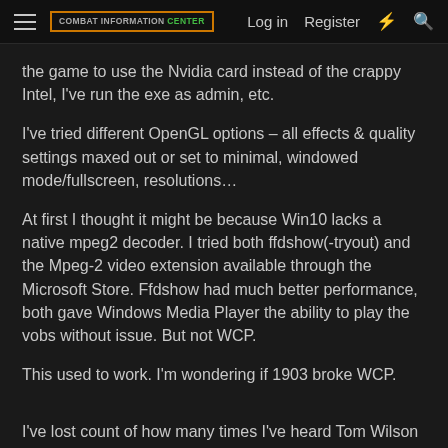COMBAT INFORMATION CENTER | Log in | Register
the game to use the Nvidia card instead of the crappy Intel, I've run the exe as admin, etc.
I've tried different OpenGL options – all effects & quality settings maxed out or set to minimal, windowed mode/fullscreen, resolutions…
At first I thought it might be because Win10 lacks a native mpeg2 decoder. I tried both ffdshow(-tryout) and the Mpeg-2 video extension available through the Microsoft Store. Ffdshow had much better performance, both gave Windows Media Player the ability to play the vobs without issue. But not WCP.
This used to work. I'm wondering if 1903 broke WCP.
I've lost count of how many times I've heard Tom Wilson say he almost feels sorry for the guy 'cause he's flying against the Maniac… But not seen him.